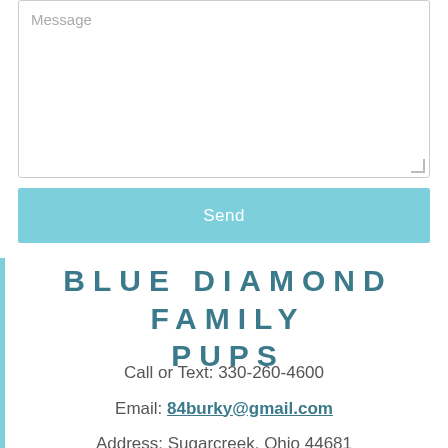[Figure (screenshot): Message text area input box with placeholder text 'Message' and resize handle in bottom-right corner]
Send
BLUE DIAMOND FAMILY PUPS
Call or Text: 330-260-4600
Email: 84burky@gmail.com
Address: Sugarcreek, Ohio 44681